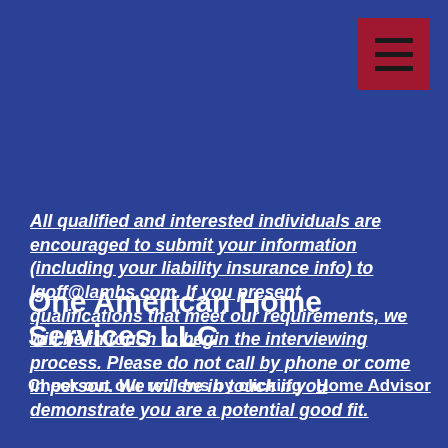[Figure (other): Dark red hamburger menu button icon in upper right corner]
All qualified and interested individuals are encouraged to submit your information (including your liability insurance info) to lgoff@lamhs.com. If you present qualifications that meet our requirements, we will be in touch to begin the interviewing process. Please do not call by phone or come in person. We will be in touch if you demonstrate you are a potential good fit.
One American Home Services LLC
Check out our reviews by clicking  Home Advisor